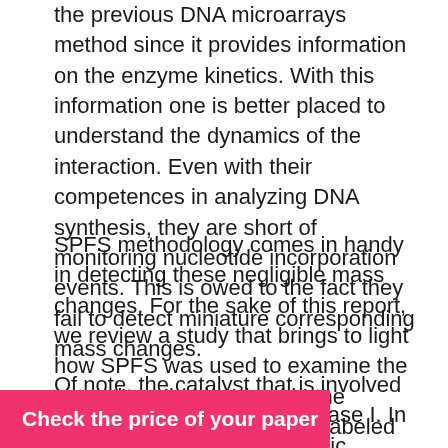the previous DNA microarrays method since it provides information on the enzyme kinetics. With this information one is better placed to understand the dynamics of the interaction. Even with their competences in analyzing DNA synthesis, they are short of monitoring nucleotide incorporation events. This is owed to the fact they fail to detect miniature corresponding mass changes.
SPFS methodology comes in handy in detecting these negligible mass changes. For the sake of this report, we review a study that brings to light how SPFS was used to examine the catalytic action involved in the integration of “fluorescently labeled nucleotides into surface-attached oligonucleotides” (Dostálek & Knoll, 2013).
Of note, the catalyst that is involved in this study is DNA polymerase I. In SPFS, a brief electromagnetic ... plasmon mode and ...
Check the price of your paper